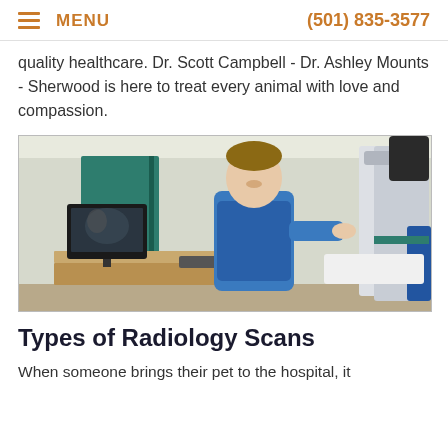MENU  (501) 835-3577
quality healthcare. Dr. Scott Campbell - Dr. Ashley Mounts - Sherwood is here to treat every animal with love and compassion.
[Figure (photo): A smiling male veterinary technician wearing blue scrubs and a blue lead apron stands in a radiology room, turning toward the camera. Behind him is a computer monitor showing an X-ray image, a keyboard and desk, and an X-ray machine arm visible on the right.]
Types of Radiology Scans
When someone brings their pet to the hospital, it